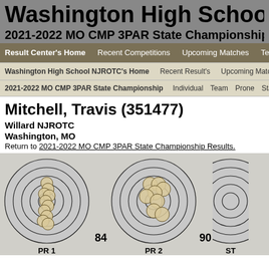Washington High School
2021-2022 MO CMP 3PAR State Championship
Result Center's Home | Recent Competitions | Upcoming Matches | Team
Washington High School NJROTC's Home | Recent Result's | Upcoming Matches
2021-2022 MO CMP 3PAR State Championship | Individual | Team | Prone | Sta
Mitchell, Travis (351477)
Willard NJROTC
Washington, MO
Return to 2021-2022 MO CMP 3PAR State Championship Results.
[Figure (other): Target scorecard showing bullet hole groupings on circular targets. Three targets visible: PR 1 (score 84), PR 2 (score 90), and ST (partially visible). Targets have concentric rings with tan/beige bullet hole marks clustered in center area.]